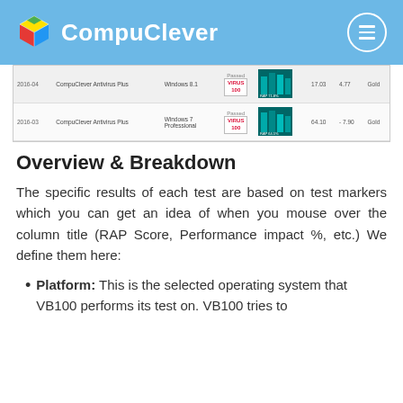CompuClever
[Figure (table-as-image): Partial table showing two rows of antivirus test results for CompuClever Antivirus Plus on Windows 8.1 and Windows 7 Professional, with VIRUS badges and RAP score bar charts]
Overview & Breakdown
The specific results of each test are based on test markers which you can get an idea of when you mouse over the column title (RAP Score, Performance impact %, etc.)  We define them here:
Platform:  This is the selected operating system that VB100 performs its test on. VB100 tries to